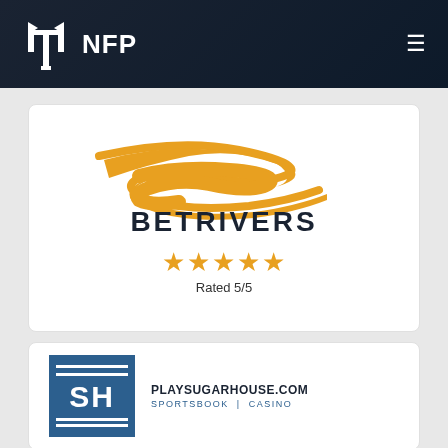NFP
[Figure (logo): BetRivers logo — golden swoosh/river shape above the text BETRIVERS in dark navy, with rating 5 stars and 'Rated 5/5']
[Figure (logo): PlaySugarHouse.com logo — blue square with 'SH' letters and horizontal lines above and below, with text PLAYSUGARHOUSE.COM SPORTSBOOK | CASINO]